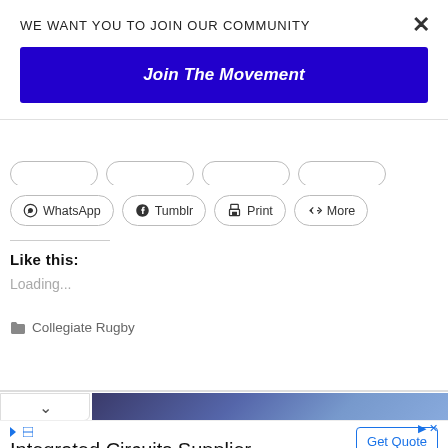WE WANT YOU TO JOIN OUR COMMUNITY
Join The Movement
[Figure (screenshot): Partial row of share buttons clipped at top]
WhatsApp  Tumblr  Print  More
Like this:
Loading...
Collegiate Rugby
Integrated Circuits Supplier
Check Part Availability & Inventory from Kynix Kynix
Get Quote